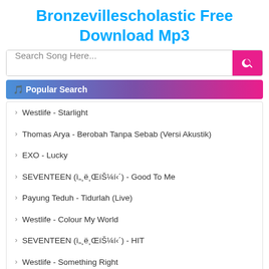Bronzevillescholastic Free Download Mp3
Search Song Here...
🎵 Popular Search
› Westlife - Starlight
› Thomas Arya - Berobah Tanpa Sebab (Versi Akustik)
› EXO - Lucky
› SEVENTEEN (세븐틴) - Good To Me
› Payung Teduh - Tidurlah (Live)
› Westlife - Colour My World
› SEVENTEEN (세븐틴) - HIT
› Westlife - Something Right
› Thomas Arya - Berbeza Kasta
› EXO - 늑대와 미녀 (Wolf)